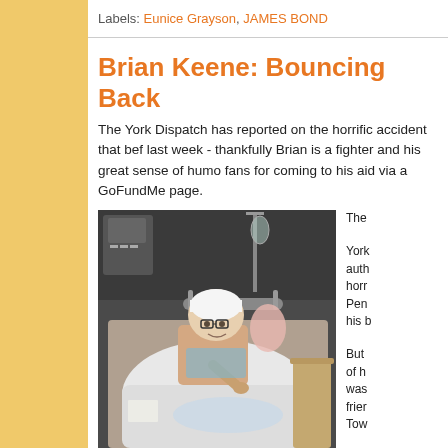Labels: Eunice Grayson, JAMES BOND
Brian Keene: Bouncing Back
The York Dispatch has reported on the horrific accident that befell him last week - thankfully Brian is a fighter and his great sense of humor is intact. He thanks fans for coming to his aid via a GoFundMe page.
[Figure (photo): Man in hospital bed with head bandaged, giving thumbs up, surrounded by medical equipment]
The

York author horri Pen his b

But of h was frier Tow

Kee